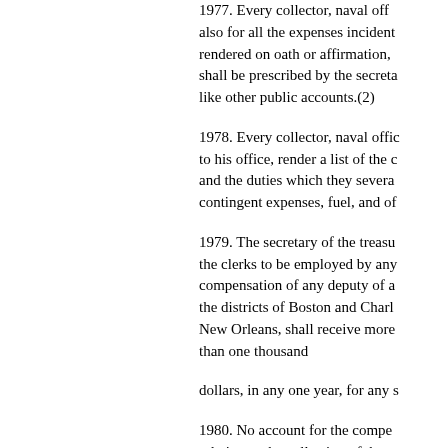1977. Every collector, naval off also for all the expenses incident rendered on oath or affirmation, shall be prescribed by the secreta like other public accounts.(2)
1978. Every collector, naval offic to his office, render a list of the c and the duties which they severa contingent expenses, fuel, and of
1979. The secretary of the treasu the clerks to be employed by any compensation of any deputy of a the districts of Boston and Charl New Orleans, shall receive more than one thousand
dollars, in any one year, for any s
1980. No account for the compe relation to the collection of the re affirmation, that the services hav own use and benefit, and that he assign, any part of such com. per rectly, paid or given, nor contrac employment, or the emolument